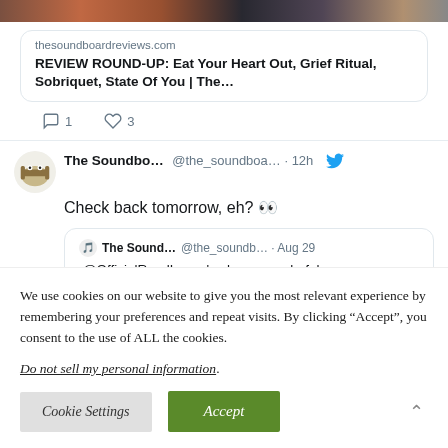[Figure (screenshot): Top portion of a Twitter/social media feed showing a tweet with a link card to thesoundboardreviews.com with title 'REVIEW ROUND-UP: Eat Your Heart Out, Grief Ritual, Sobriquet, State Of You | The...' and action icons showing 1 reply and 3 likes. Below that, a tweet from The Soundbo... @the_soundboa... 12h: 'Check back tomorrow, eh? 👀' with a quoted tweet from The Sound... @the_soundb... Aug 29: '.@OfficialRandL, you've been wonderful as']
We use cookies on our website to give you the most relevant experience by remembering your preferences and repeat visits. By clicking “Accept”, you consent to the use of ALL the cookies.
Do not sell my personal information.